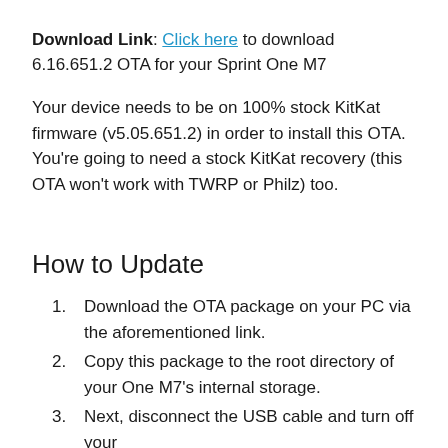Download Link: Click here to download 6.16.651.2 OTA for your Sprint One M7
Your device needs to be on 100% stock KitKat firmware (v5.05.651.2) in order to install this OTA. You're going to need a stock KitKat recovery (this OTA won't work with TWRP or Philz) too.
How to Update
Download the OTA package on your PC via the aforementioned link.
Copy this package to the root directory of your One M7's internal storage.
Next, disconnect the USB cable and turn off your